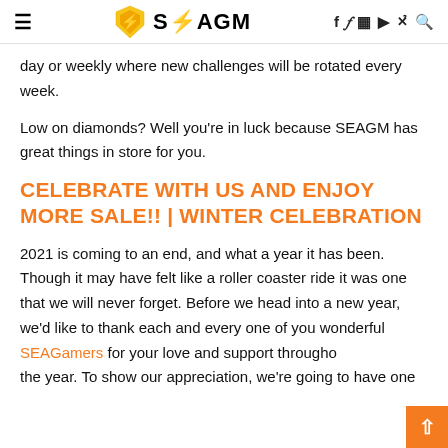≡  SEAGM  f  𝕏  📷  ▶  ♪  🔍
day or weekly where new challenges will be rotated every week.
Low on diamonds? Well you're in luck because SEAGM has great things in store for you.
CELEBRATE WITH US AND ENJOY MORE SALE!! | WINTER CELEBRATION
2021 is coming to an end, and what a year it has been. Though it may have felt like a roller coaster ride it was one that we will never forget. Before we head into a new year, we'd like to thank each and every one of you wonderful SEAGamers for your love and support throughout the year. To show our appreciation, we're going to have one